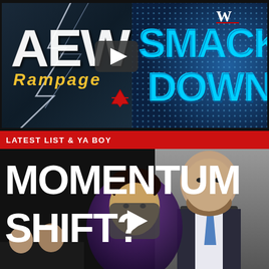[Figure (screenshot): YouTube thumbnail showing AEW Rampage vs WWE SmackDown logos with a play button in the center, lightning background on left, blue dot pattern on right]
LATEST LIST & YA BOY
[Figure (screenshot): YouTube thumbnail with text MOMENTUM SHIFT? in large white bold letters, a bald man in suit on right, a person with dark hair center, two smaller figures bottom left, play button in center]